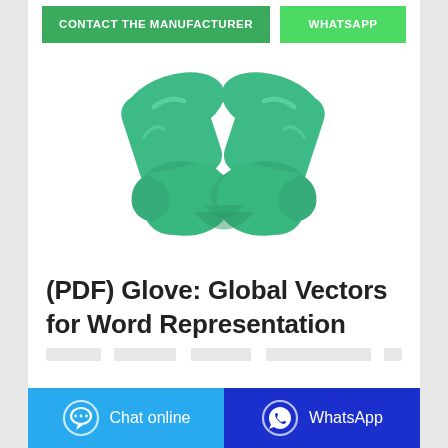[Figure (other): Two green nitrile/rubber gloves posed in a V shape on white background, product photo]
(PDF) Glove: Global Vectors for Word Representation